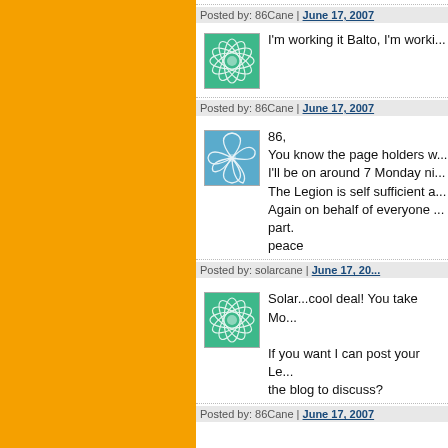Posted by: 86Cane | June 17, 2007
[Figure (illustration): Green leaf/flower avatar icon for user 86Cane]
I'm working it Balto, I'm worki...
Posted by: 86Cane | June 17, 2007
[Figure (illustration): Blue leaf/fan avatar icon for user solarcane]
86,
You know the page holders w...
I'll be on around 7 Monday ni...
The Legion is self sufficient a...
Again on behalf of everyone...
part.
peace
Posted by: solarcane | June 17, 20...
[Figure (illustration): Green leaf/flower avatar icon for user 86Cane]
Solar...cool deal! You take Mo...

If you want I can post your Le...
the blog to discuss?
Posted by: 86Cane | June 17, 2007